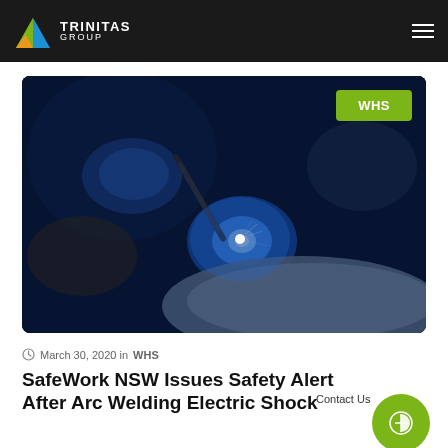TRINITAS GROUP
[Figure (photo): A welder wearing a dark helmet performing arc welding, with bright blue electric arc light and sparks visible. The scene is dark with blue and white light from the welding arc illuminating metal pieces.]
WHS
March 30, 2020 in WHS
SafeWork NSW Issues Safety Alert After Arc Welding Electric Shock
Contact Us